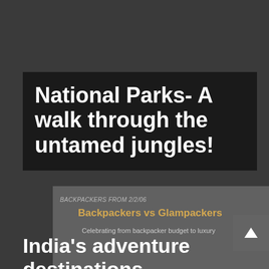National Parks- A walk through the untamed jungles!
BACKPACKERS FROM 2/2/06
Backpackers vs Glampackers
Celebrating from backpacker budget to luxury
India's adventure destinations – A guide for the adventurous